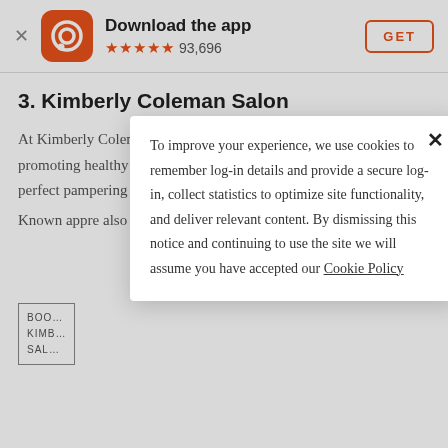[Figure (screenshot): App banner with orange app icon showing a circular Q/speech bubble logo, 'Download the app' title, 5 orange stars and 93,696 rating count, and orange GET button]
3. Kimberly Coleman Salon
At Kimberly Coleman Salon, their philosophy begins with promoting healthy tresses, elegant sets, unique accouterments, perfect pampering of hands and feet, and precision cuts. Known... appre... also in...
BOOK KIMB SAL
To improve your experience, we use cookies to remember log-in details and provide a secure log-in, collect statistics to optimize site functionality, and deliver relevant content. By dismissing this notice and continuing to use the site we will assume you have accepted our Cookie Policy